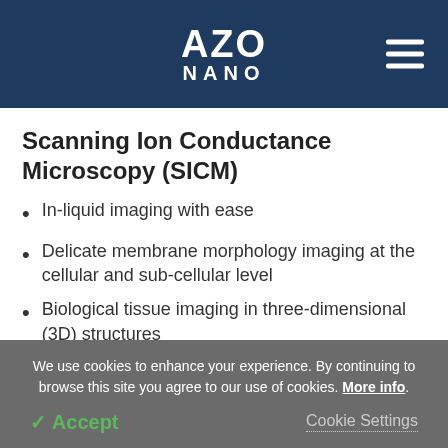AZO NANO
Scanning Ion Conductance Microscopy (SICM)
In-liquid imaging with ease
Delicate membrane morphology imaging at the cellular and sub-cellular level
Biological tissue imaging in three-dimensional (3D) structures
We use cookies to enhance your experience. By continuing to browse this site you agree to our use of cookies. More info.
✓ Accept
Cookie Settings